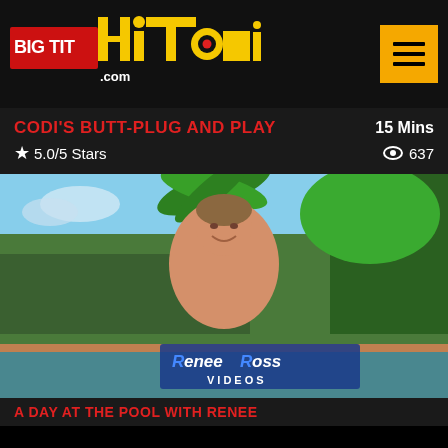[Figure (logo): BigTitHitomi.com logo with stylized text and hamburger menu button]
CODI'S BUTT-PLUG AND PLAY
15 Mins
★ 5.0/5 Stars
👁 637
[Figure (photo): Woman posed outdoors by a pool with palm trees, watermark reads Renee Ross VIDEOS]
A DAY AT THE POOL WITH RENEE